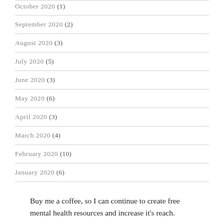October 2020 (1)
September 2020 (2)
August 2020 (3)
July 2020 (5)
June 2020 (3)
May 2020 (6)
April 2020 (3)
March 2020 (4)
February 2020 (10)
January 2020 (6)
Buy me a coffee, so I can continue to create free mental health resources and increase it’s reach.